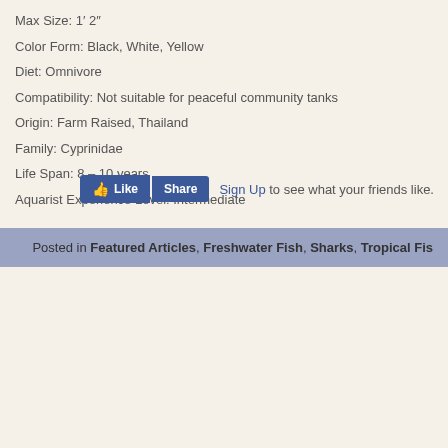Max Size: 1′ 2″
Color Form: Black, White, Yellow
Diet: Omnivore
Compatibility: Not suitable for peaceful community tanks
Origin: Farm Raised, Thailand
Family: Cyprinidae
Life Span: 8 – 10 years
Aquarist Experience Level: Intermediate
[Figure (screenshot): Facebook Like and Share buttons with 'Sign Up to see what your friends like.' text]
Posted in Featured Articles, Freshwater Fish, Sharks, Tropical Fis...